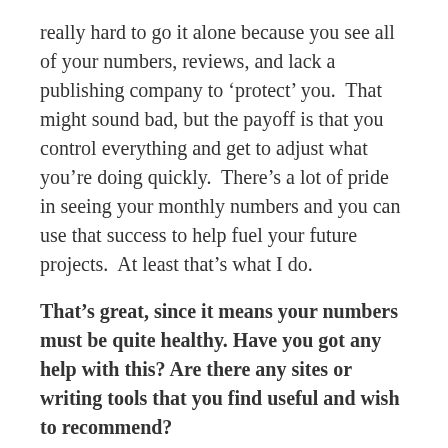really hard to go it alone because you see all of your numbers, reviews, and lack a publishing company to ‘protect’ you.  That might sound bad, but the payoff is that you control everything and get to adjust what you’re doing quickly.  There’s a lot of pride in seeing your monthly numbers and you can use that success to help fuel your future projects.  At least that’s what I do.
That’s great, since it means your numbers must be quite healthy. Have you got any help with this? Are there any sites or writing tools that you find useful and wish to recommend?
I use a lot of advertising sites like